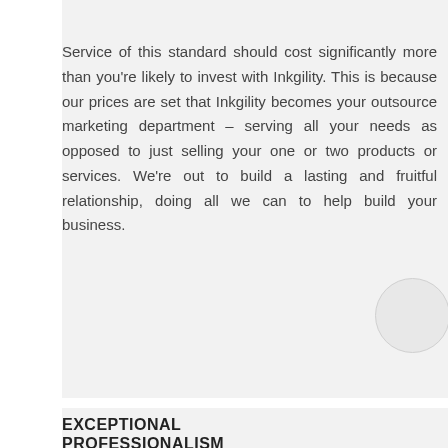Service of this standard should cost significantly more than you're likely to invest with Inkgility. This is because our prices are set that Inkgility becomes your outsource marketing department – serving all your needs as opposed to just selling your one or two products or services. We're out to build a lasting and fruitful relationship, doing all we can to help build your business.
[Figure (illustration): Decorative light grey circle in the lower right area of the shaded content block]
EXCEPTIONAL PROFESSIONALISM